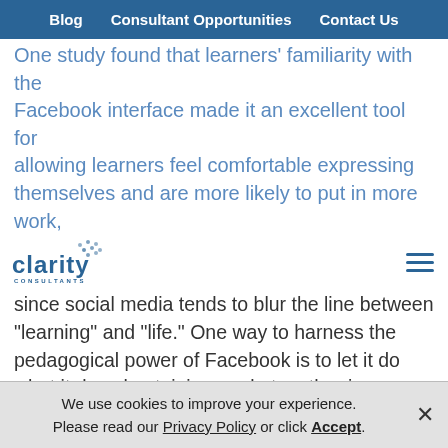Blog   Consultant Opportunities   Contact Us
One study found that learners' familiarity with the Facebook interface made it an excellent tool for allowing learners feel comfortable expressing themselves and are more likely to put in more work,
[Figure (logo): Clarity Consultants logo with blue dot pattern and company name]
since social media tends to blur the line between "learning" and "life." One way to harness the pedagogical power of Facebook is to let it do what it does best: join people together in groups, where they are free to share information and discuss issues that are important to them. Learners can meet in a designated asynchronous space, hold discussions that are saved in easy-to-access threads, post a variety of media items, and restrict access to the group as needed.
Post content on a class blog.
We use cookies to improve your experience. Please read our Privacy Policy or click Accept.